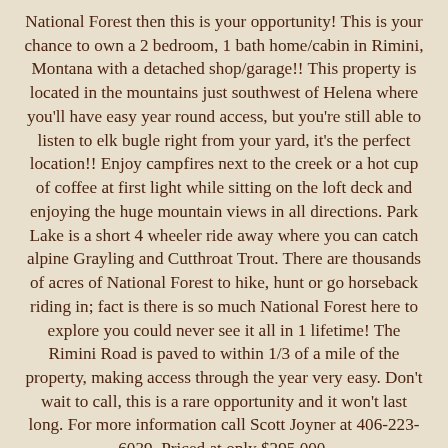National Forest then this is your opportunity! This is your chance to own a 2 bedroom, 1 bath home/cabin in Rimini, Montana with a detached shop/garage!! This property is located in the mountains just southwest of Helena where you'll have easy year round access, but you're still able to listen to elk bugle right from your yard, it's the perfect location!! Enjoy campfires next to the creek or a hot cup of coffee at first light while sitting on the loft deck and enjoying the huge mountain views in all directions. Park Lake is a short 4 wheeler ride away where you can catch alpine Grayling and Cutthroat Trout. There are thousands of acres of National Forest to hike, hunt or go horseback riding in; fact is there is so much National Forest here to explore you could never see it all in 1 lifetime! The Rimini Road is paved to within 1/3 of a mile of the property, making access through the year very easy. Don't wait to call, this is a rare opportunity and it won't last long. For more information call Scott Joyner at 406-223-6039. Priced at only $295,000.